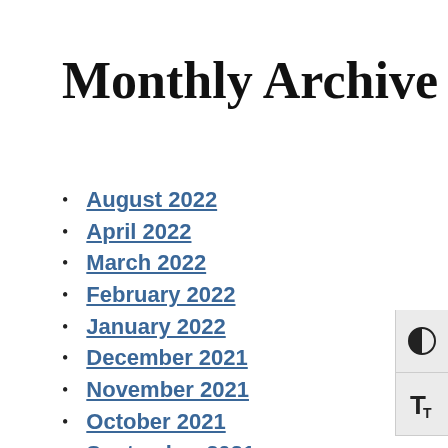Monthly Archive
August 2022
April 2022
March 2022
February 2022
January 2022
December 2021
November 2021
October 2021
September 2021
May 2021
March 2021